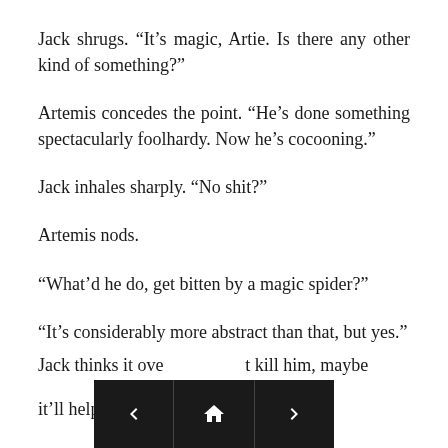Jack shrugs. “It’s magic, Artie. Is there any other kind of something?”
Artemis concedes the point. “He’s done something spectacularly foolhardy. Now he’s cocooning.”
Jack inhales sharply. “No shit?”
Artemis nods.
“What’d he do, get bitten by a magic spider?”
“It’s considerably more abstract than that, but yes.”
Jack thinks it ove[r. If it won’]t kill him, maybe it’ll help us.”
[Figure (other): Navigation bar overlay with back arrow, home icon, and forward arrow buttons on dark background]